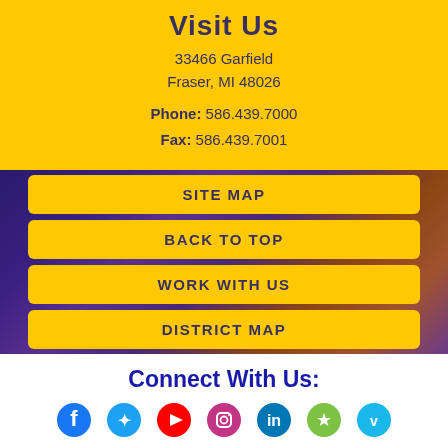Visit Us
33466 Garfield
Fraser, MI 48026
Phone: 586.439.7000
Fax: 586.439.7001
[Figure (photo): Background photo of colorful pencils/school supplies in a blurred dark background]
SITE MAP
BACK TO TOP
WORK WITH US
DISTRICT MAP
Connect With Us:
[Figure (illustration): Social media icons: Facebook, Twitter, YouTube, Instagram, LinkedIn, and two others]